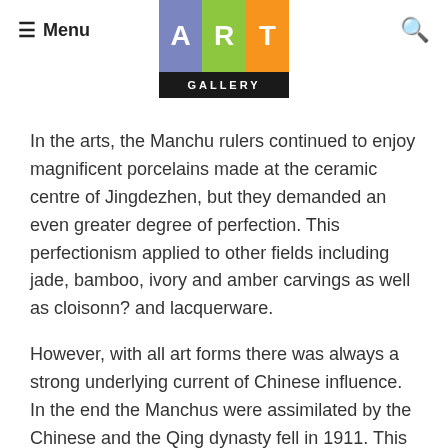Menu | ART GALLERY | Search
In the arts, the Manchu rulers continued to enjoy magnificent porcelains made at the ceramic centre of Jingdezhen, but they demanded an even greater degree of perfection. This perfectionism applied to other fields including jade, bamboo, ivory and amber carvings as well as cloisonn? and lacquerware.
However, with all art forms there was always a strong underlying current of Chinese influence. In the end the Manchus were assimilated by the Chinese and the Qing dynasty fell in 1911. This exhibition examines various aspects of art produced during Manchu rule: arts which show Manchu influence as well as the continuance of